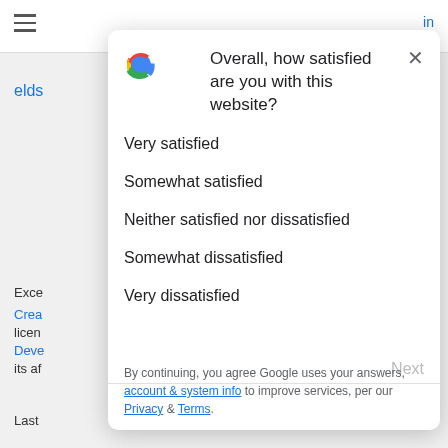[Figure (screenshot): Google website satisfaction survey modal dialog overlaid on a webpage. The modal contains the Google 'G' logo, a question asking about satisfaction with the website, five answer options (Very satisfied, Somewhat satisfied, Neither satisfied nor dissatisfied, Somewhat dissatisfied, Very dissatisfied), a Next button, a divider, and a footer with privacy links.]
Overall, how satisfied are you with this website?
Very satisfied
Somewhat satisfied
Neither satisfied nor dissatisfied
Somewhat dissatisfied
Very dissatisfied
By continuing, you agree Google uses your answers, account & system info to improve services, per our Privacy & Terms.